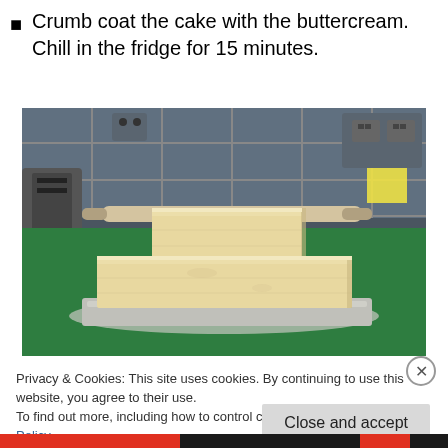Crumb coat the cake with the buttercream. Chill in the fridge for 15 minutes.
[Figure (photo): A stepped cake covered in buttercream crumb coat, sitting on a silver cake board on a green chopping board. A rolling pin is visible in the background against grey tile splashback. Kitchen appliances visible on the left.]
Privacy & Cookies: This site uses cookies. By continuing to use this website, you agree to their use.
To find out more, including how to control cookies, see here: Cookie Policy